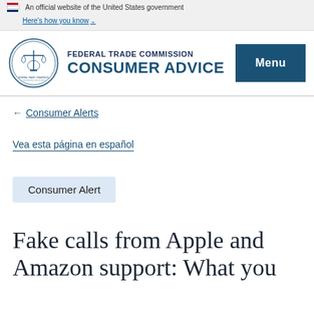An official website of the United States government
Here's how you know
[Figure (logo): Federal Trade Commission Consumer Advice seal and wordmark with blue menu button]
← Consumer Alerts
Vea esta página en español
Consumer Alert
Fake calls from Apple and Amazon support: What you